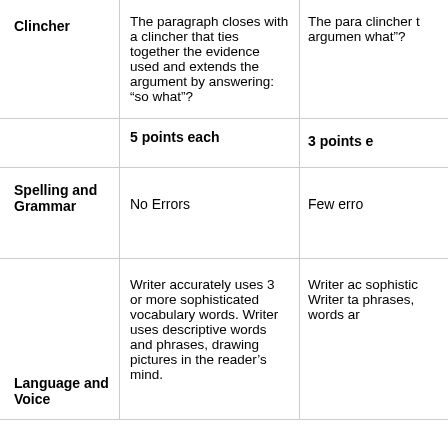| Category | 5 points each | 3 points each |
| --- | --- | --- |
| Clincher | The paragraph closes with a clincher that ties together the evidence used and extends the argument by answering: “so what”? | The paragraph closes with a clincher that ties together the argument by answering: “so what”? |
|  | 5 points each | 3 points e... |
| Spelling and Grammar | No Errors | Few erro... |
| Language and Voice | Writer accurately uses 3 or more sophisticated vocabulary words. Writer uses descriptive words and phrases, drawing pictures in the reader’s mind. | Writer accurately uses sophisticated vocabulary. Writer takes words and phrases, words ar... |